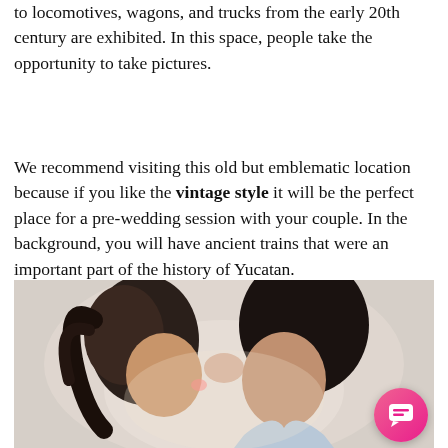to locomotives, wagons, and trucks from the early 20th century are exhibited. In this space, people take the opportunity to take pictures.
We recommend visiting this old but emblematic location because if you like the vintage style it will be the perfect place for a pre-wedding session with your couple. In the background, you will have ancient trains that were an important part of the history of Yucatan.
[Figure (photo): A couple about to kiss, foreheads nearly touching, outdoor setting with soft backlight. Man has dark hair wearing a collared shirt; woman has dark hair blowing in the wind. Warm romantic atmosphere.]